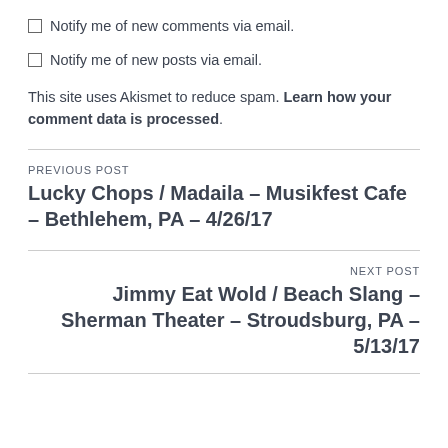☐ Notify me of new comments via email.
☐ Notify me of new posts via email.
This site uses Akismet to reduce spam. Learn how your comment data is processed.
PREVIOUS POST
Lucky Chops / Madaila – Musikfest Cafe – Bethlehem, PA – 4/26/17
NEXT POST
Jimmy Eat Wold / Beach Slang – Sherman Theater – Stroudsburg, PA – 5/13/17